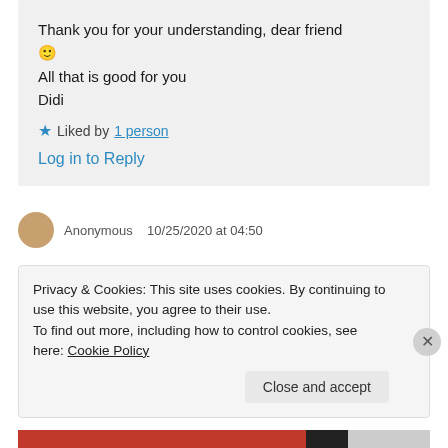Thank you for your understanding, dear friend 🙂
All that is good for you
Didi
★ Liked by 1 person
Log in to Reply
Privacy & Cookies: This site uses cookies. By continuing to use this website, you agree to their use.
To find out more, including how to control cookies, see here: Cookie Policy
Close and accept